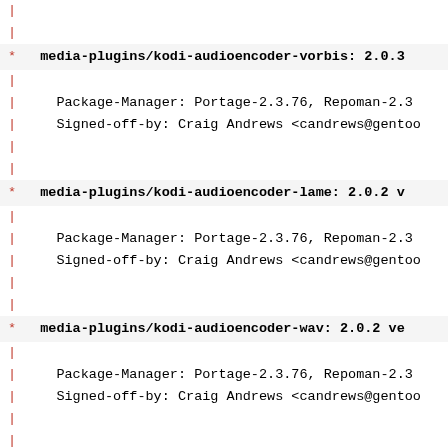| (vertical bar line)
|
* media-plugins/kodi-audioencoder-vorbis: 2.0.3...
|
| Package-Manager: Portage-2.3.76, Repoman-2.3...
| Signed-off-by: Craig Andrews <candrews@gentoo...
|
|
* media-plugins/kodi-audioencoder-lame: 2.0.2 v...
|
| Package-Manager: Portage-2.3.76, Repoman-2.3...
| Signed-off-by: Craig Andrews <candrews@gentoo...
|
|
* media-plugins/kodi-audioencoder-wav: 2.0.2 ve...
|
| Package-Manager: Portage-2.3.76, Repoman-2.3...
| Signed-off-by: Craig Andrews <candrews@gentoo...
|
|
* media-plugins/kodi-audioencoder-flac: 2.0.2 v...